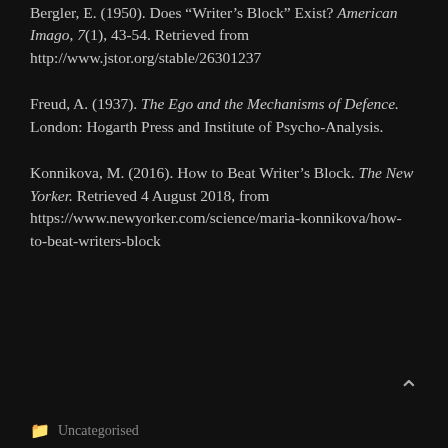Bergler, E. (1950). Does “Writer’s Block” Exist? American Imago, 7(1), 43-54. Retrieved from http://www.jstor.org/stable/26301237
Freud, A. (1937). The Ego and the Mechanisms of Defence. London: Hogarth Press and Institute of Psycho-Analysis.
Konnikova, M. (2016). How to Beat Writer’s Block. The New Yorker. Retrieved 4 August 2018, from https://www.newyorker.com/science/maria-konnikova/how-to-beat-writers-block
Uncategorised